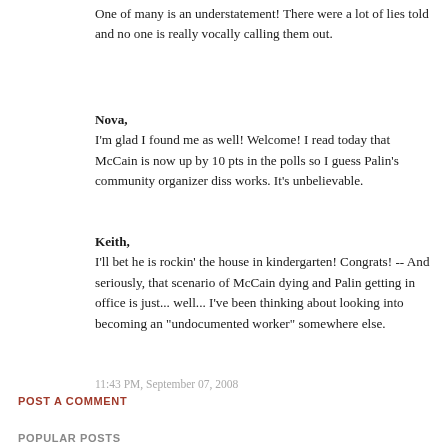One of many is an understatement! There were a lot of lies told and no one is really vocally calling them out.
Nova,
I'm glad I found me as well! Welcome! I read today that McCain is now up by 10 pts in the polls so I guess Palin's community organizer diss works. It's unbelievable.
Keith,
I'll bet he is rockin' the house in kindergarten! Congrats! -- And seriously, that scenario of McCain dying and Palin getting in office is just... well... I've been thinking about looking into becoming an "undocumented worker" somewhere else.
11:43 PM, September 07, 2008
POST A COMMENT
POPULAR POSTS